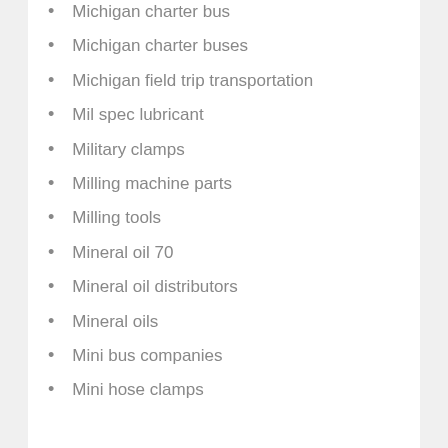Michigan charter bus
Michigan charter buses
Michigan field trip transportation
Mil spec lubricant
Military clamps
Milling machine parts
Milling tools
Mineral oil 70
Mineral oil distributors
Mineral oils
Mini bus companies
Mini hose clamps